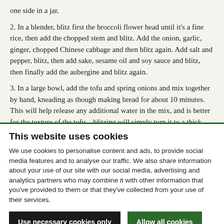one side in a jar.
2. In a blender, blitz first the broccoli flower head until it’s a fine rice, then add the chopped stem and blitz. Add the onion, garlic, ginger, chopped Chinese cabbage and then blitz again. Add salt and pepper, blitz, then add sake, sesame oil and soy sauce and blitz, then finally add the aubergine and blitz again.
3. In a large bowl, add the tofu and spring onions and mix together by hand, kneading as though making bread for about 10 minutes. This will help release any additional water in the mix, and is better for the texture of the tofu – blitzing will simply turn it to a thick liquid. Chill for 30 minutes.
4. Get your mix out of the fridge and open the wrapper packet. Take
This website uses cookies
We use cookies to personalise content and ads, to provide social media features and to analyse our traffic. We also share information about your use of our site with our social media, advertising and analytics partners who may combine it with other information that you’ve provided to them or that they’ve collected from your use of their services.
Use necessary cookies only
Allow all cookies
Show details